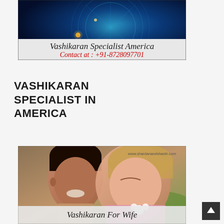[Figure (illustration): Banner image for Vashikaran Specialist America with zodiac/astrology blue cosmic background, text reads 'Vashikaran Specialist America' and 'Contact at : +91-8728097701' in red]
VASHIKARAN SPECIALIST IN AMERICA
[Figure (photo): Photo of a couple (man and woman) with overlay text 'Vashikaran For Wife' and watermark www.shardanandshastri.com]